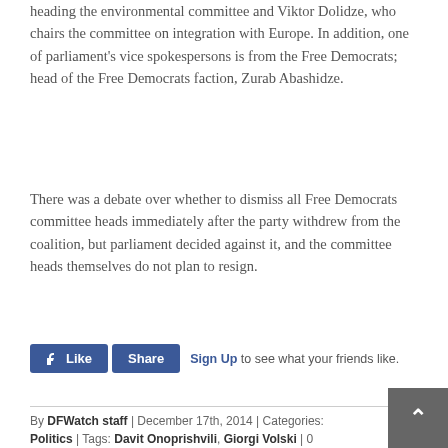heading the environmental committee and Viktor Dolidze, who chairs the committee on integration with Europe. In addition, one of parliament's vice spokespersons is from the Free Democrats; head of the Free Democrats faction, Zurab Abashidze.
There was a debate over whether to dismiss all Free Democrats committee heads immediately after the party withdrew from the coalition, but parliament decided against it, and the committee heads themselves do not plan to resign.
Like Share Sign Up to see what your friends like.
By DFWatch staff | December 17th, 2014 | Categories: Politics | Tags: Davit Onoprishvili, Giorgi Volski | 0 Comments